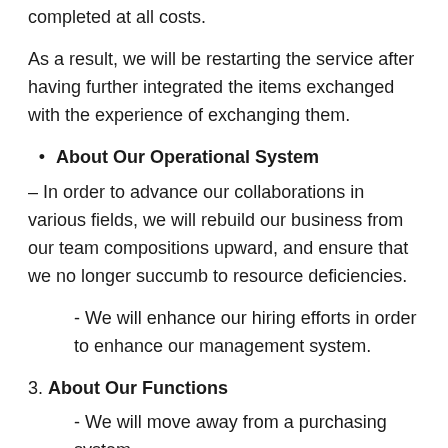completed at all costs.
As a result, we will be restarting the service after having further integrated the items exchanged with the experience of exchanging them.
About Our Operational System
– In order to advance our collaborations in various fields, we will rebuild our business from our team compositions upward, and ensure that we no longer succumb to resource deficiencies.
- We will enhance our hiring efforts in order to enhance our management system.
3. About Our Functions
- We will move away from a purchasing system.